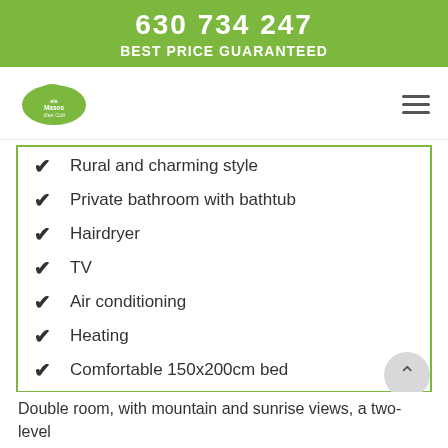630 734 247
BEST PRICE GUARANTEED
[Figure (logo): Els Masos d'en Coll green cloud logo]
Rural and charming style
Private bathroom with bathtub
Hairdryer
TV
Air conditioning
Heating
Comfortable 150x200cm bed
Double room, with mountain and sunrise views, a two-level